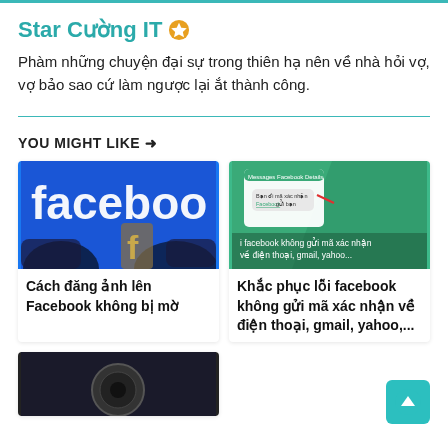Star Cường IT ⭐
Phàm những chuyện đại sự trong thiên hạ nên về nhà hỏi vợ, vợ bảo sao cứ làm ngược lại ắt thành công.
YOU MIGHT LIKE →
[Figure (photo): Facebook logo with hands holding phones against blue background]
Cách đăng ảnh lên Facebook không bị mờ
[Figure (screenshot): Facebook message verification code screen on green background with text: facebook không gửi mã xác nhận về điện thoại, gmail, yahoo...]
Khắc phục lỗi facebook không gửi mã xác nhận về điện thoại, gmail, yahoo,...
[Figure (photo): Partially visible bottom card image, dark background]